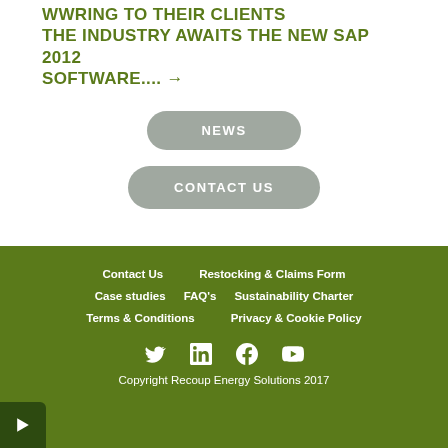WWRING TO THEIR CLIENTS THE INDUSTRY AWAITS THE NEW SAP 2012 SOFTWARE.... →
NEWS
CONTACT US
Contact Us   Restocking & Claims Form   Case studies   FAQ's   Sustainability Charter   Terms & Conditions   Privacy & Cookie Policy   Copyright Recoup Energy Solutions 2017